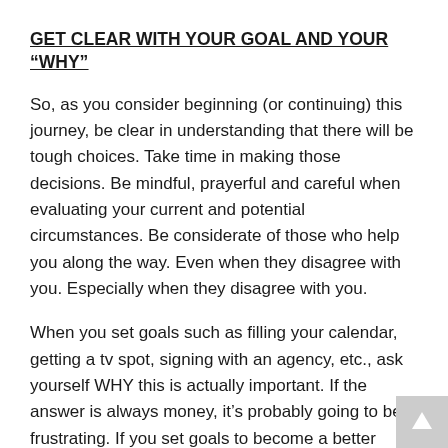GET CLEAR WITH YOUR GOAL AND YOUR “WHY”
So, as you consider beginning (or continuing) this journey, be clear in understanding that there will be tough choices. Take time in making those decisions. Be mindful, prayerful and careful when evaluating your current and potential circumstances. Be considerate of those who help you along the way. Even when they disagree with you. Especially when they disagree with you.
When you set goals such as filling your calendar, getting a tv spot, signing with an agency, etc., ask yourself WHY this is actually important. If the answer is always money, it’s probably going to be frustrating. If you set goals to become a better communicator so you can help others laugh, heal, look inward or consider things in a new way you will be heading down a rewarding path. The result